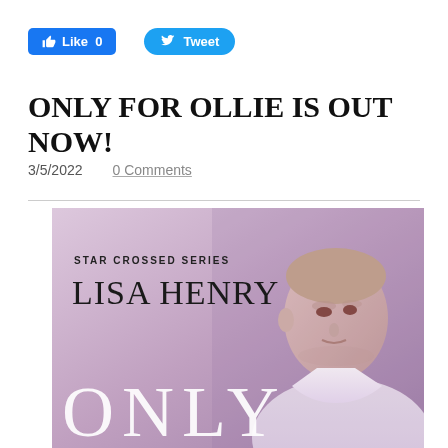[Figure (other): Facebook Like button showing 'Like 0' in blue rounded rectangle]
[Figure (other): Twitter Tweet button in blue pill shape with bird icon]
ONLY FOR OLLIE IS OUT NOW!
3/5/2022    0 Comments
[Figure (photo): Book cover for 'Only For Ollie' by Lisa Henry, Star Crossed Series. Shows a young man in a white t-shirt against a purple/mauve background. Text reads: STAR CROSSED SERIES, LISA HENRY, ONLY (partial title visible).]